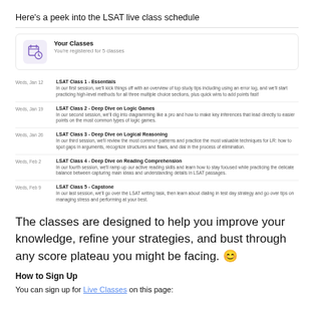Here's a peek into the LSAT live class schedule
[Figure (infographic): Card showing 'Your Classes' with a calendar/clock icon and text 'You're registered for 5 classes']
Weds, Jan 12 | LSAT Class 1 - Essentials | In our first session, we'll kick things off with an overview of top study tips including using an error log, and we'll start practicing high-level methods for all three multiple choice sections, plus quick wins to add points fast!
Weds, Jan 19 | LSAT Class 2 - Deep Dive on Logic Games | In our second session, we'll dig into diagramming like a pro and how to make key inferences that lead directly to easier points on the most common types of logic games.
Weds, Jan 26 | LSAT Class 3 - Deep Dive on Logical Reasoning | In our third session, we'll review the most common patterns and practice the most valuable techniques for LR: how to spot gaps in arguments, recognize structures and flaws, and dial in the process of elimination.
Weds, Feb 2 | LSAT Class 4 - Deep Dive on Reading Comprehension | In our fourth session, we'll ramp up our active reading skills and learn how to stay focused while practicing the delicate balance between capturing main ideas and understanding details in LSAT passages.
Weds, Feb 9 | LSAT Class 5 - Capstone | In our last session, we'll go over the LSAT writing task, then learn about dialing in test day strategy and go over tips on managing stress and performing at your best.
The classes are designed to help you improve your knowledge, refine your strategies, and bust through any score plateau you might be facing. 😊
How to Sign Up
You can sign up for Live Classes on this page: